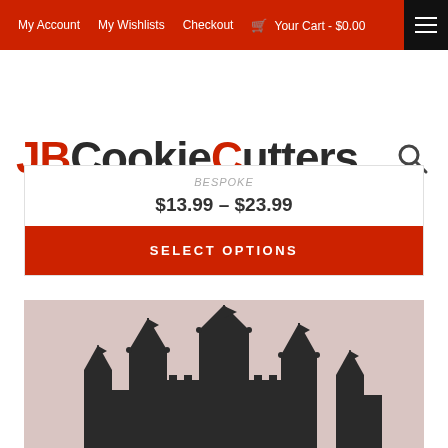My Account  My Wishlists  Checkout  🛒 Your Cart - $0.00
[Figure (logo): JBCookieCutters logo with JB and C in red, rest in dark gray/black]
$13.99 – $23.99
SELECT OPTIONS
[Figure (illustration): Silhouette of a fairy-tale castle with multiple spires and flags against a light pinkish-gray background]